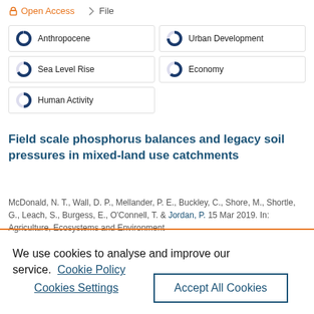🔓 Open Access   📎 File
Anthropocene
Urban Development
Sea Level Rise
Economy
Human Activity
Field scale phosphorus balances and legacy soil pressures in mixed-land use catchments
McDonald, N. T., Wall, D. P., Mellander, P. E., Buckley, C., Shore, M., Shortle, G., Leach, S., Burgess, E., O'Connell, T. & Jordan, P. 15 Mar 2019. In: Agriculture, Ecosystems and Environment
We use cookies to analyse and improve our service. Cookie Policy
Cookies Settings
Accept All Cookies